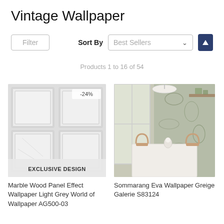Vintage Wallpaper
Filter  Sort By  Best Sellers
Products 1 to 16 of 54
[Figure (photo): Marble Wood Panel Effect Wallpaper in light grey, showing a paneled door/wall design with geometric squares. Has a -24% discount badge and EXCLUSIVE DESIGN banner.]
Marble Wood Panel Effect Wallpaper Light Grey World of Wallpaper AG500-03
[Figure (photo): Sommarang Eva Wallpaper Greige from Galerie S83124 showing a dining room with a white table, cane chairs, and green botanical wallpaper on the wall. Natural light from a window.]
Sommarang Eva Wallpaper Greige Galerie S83124